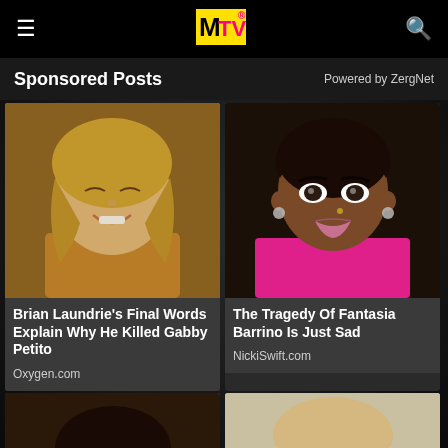[Figure (logo): MTV logo in navbar]
Sponsored Posts
Powered by ZergNet
[Figure (photo): Blonde woman smiling, Gabby Petito related image]
Brian Laundrie's Final Words Explain Why He Killed Gabby Petito
Oxygen.com
[Figure (photo): Fantasia Barrino portrait photo]
The Tragedy Of Fantasia Barrino Is Just Sad
NickiSwift.com
[Figure (photo): Partial photo bottom left, person with dark hair]
[Figure (photo): Partial photo bottom right, blonde person]